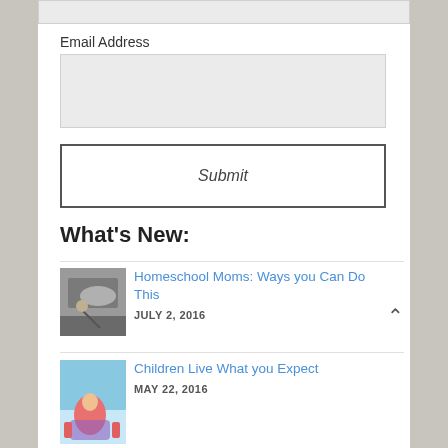Email Address
Submit
What's New:
Homeschool Moms: Ways you Can Do This
JULY 2, 2016
[Figure (photo): Child near a car, reaching toward something]
Children Live What you Expect
MAY 22, 2016
[Figure (photo): Child with colorful art or mural]